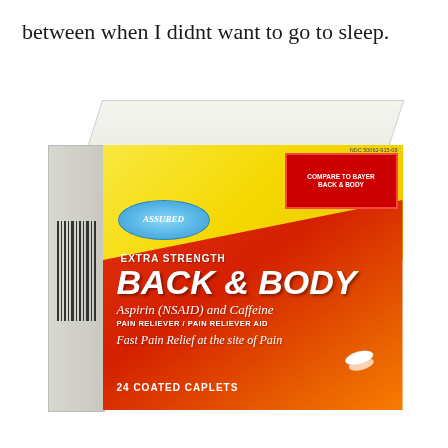between when I didnt want to go to sleep.
[Figure (photo): Product box of Assured Extra Strength Back & Body Aspirin (NSAID) and Caffeine Pain Reliever/Pain Reliever Aid, 24 Coated Caplets. The box is yellow and orange/red with white text. A comparison sticker reads 'Compare to Bayer Back & Body'. The brand logo is a blue oval with the name Assured. Two white oval caplet pills are shown on the right side.]